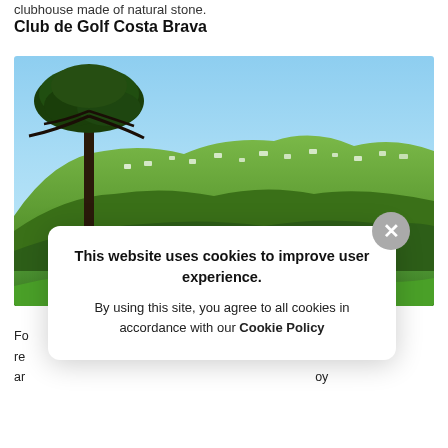clubhouse made of natural stone.
Club de Golf Costa Brava
[Figure (photo): Landscape photo showing a scenic hillside with dense green forest, white houses/villas dotting the hillside, a tall umbrella pine tree in the foreground left, blue sky above, and green golf course grass in the lower portion.]
Fo... re... ar... y, oy
This website uses cookies to improve user experience. By using this site, you agree to all cookies in accordance with our Cookie Policy